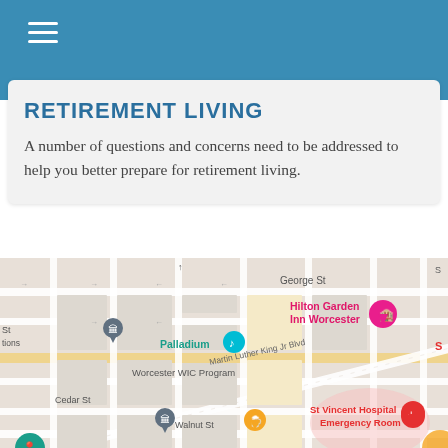RETIREMENT LIVING
A number of questions and concerns need to be addressed to help you better prepare for retirement living.
[Figure (map): Street map of Worcester area showing Hilton Garden Inn Worcester, Palladium, Worcester WIC Program, St Vincent Hospital Emergency Room, Martin Luther King Jr Blvd, George St, Cedar St, Walnut St streets and landmarks.]